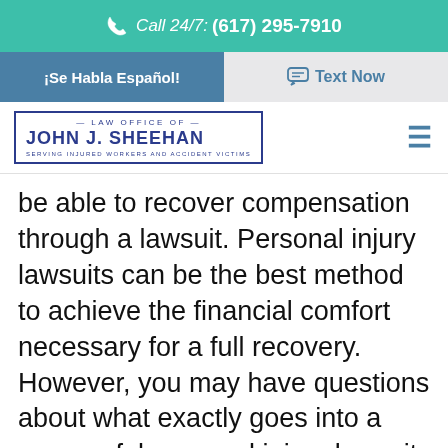Call 24/7: (617) 295-7910
¡Se Habla Español! | Text Now
[Figure (logo): Law Office of John J. Sheehan logo with tagline 'Serving Injured Workers and Accident Victims']
be able to recover compensation through a lawsuit. Personal injury lawsuits can be the best method to achieve the financial comfort necessary for a full recovery. However, you may have questions about what exactly goes into a successful personal injury lawsuit in Massachusetts